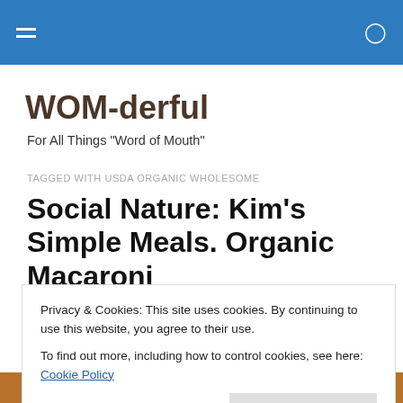WOM-derful [navigation bar with hamburger menu and search icon]
WOM-derful
For All Things "Word of Mouth"
TAGGED WITH USDA ORGANIC WHOLESOME
Social Nature: Kim's Simple Meals. Organic Macaroni
Privacy & Cookies: This site uses cookies. By continuing to use this website, you agree to their use.
To find out more, including how to control cookies, see here: Cookie Policy
Close and accept
[Figure (photo): Bottom strip showing product packaging with text 'quick & easy homemade goodness']